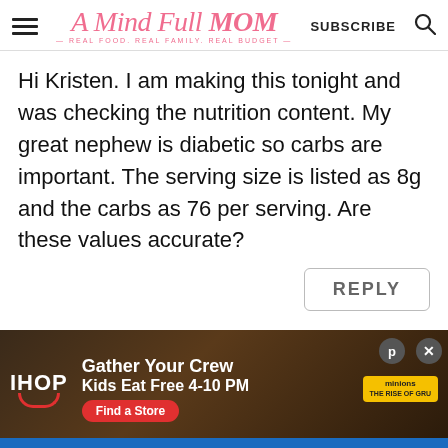A Mind Full Mom — REAL FOOD. REAL FAMILY. REAL BUDGET. | SUBSCRIBE
Hi Kristen. I am making this tonight and was checking the nutrition content. My great nephew is diabetic so carbs are important. The serving size is listed as 8g and the carbs as 76 per serving. Are these values accurate?
REPLY
[Figure (screenshot): IHOP advertisement banner: Gather Your Crew Kids Eat Free 4-10 PM, with Find a Store button and Minions branding]